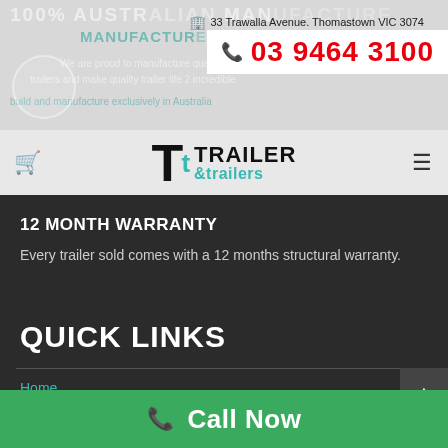100% AUSTRALIAN MANUFACTURE
33 Trawalla Avenue. Thomastown VIC 3074
03 9464 3100
[Figure (logo): Trailer & Trailers logo with large T letters and brand name]
12 MONTH WARRANTY
Every trailer sold comes with a 12 months structural warranty.
QUICK LINKS
Home
Call Now